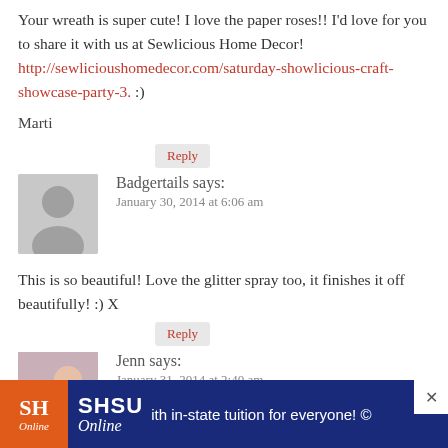Your wreath is super cute! I love the paper roses!! I'd love for you to share it with us at Sewlicious Home Decor! http://sewlicioushomedecor.com/saturday-showlicious-craft-showcase-party-3. :)

Marti
Reply
Badgertails says:
January 30, 2014 at 6:06 am
This is so beautiful! Love the glitter spray too, it finishes it off beautifully! :) X
Reply
Jenn says:
January 31, 2014 at 2:40 am
This is so pretty! It looks lovely on the window frame. Thanks for sharing at The Inspiration Exchange... we'll
[Figure (infographic): SHSU Online advertisement banner with orange logo block and blue background. Text reads: SHSU Online with in-state tuition for everyone!]